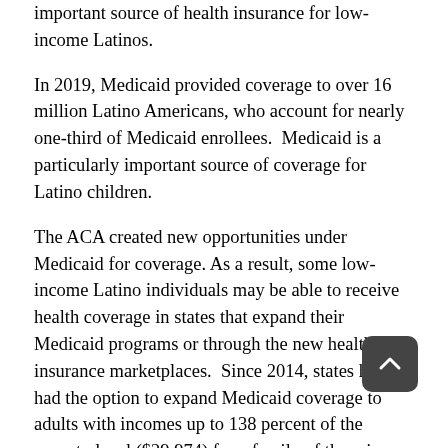important source of health insurance for low-income Latinos.
In 2019, Medicaid provided coverage to over 16 million Latino Americans, who account for nearly one-third of Medicaid enrollees.  Medicaid is a particularly important source of coverage for Latino children.
The ACA created new opportunities under Medicaid for coverage. As a result, some low-income Latino individuals may be able to receive health coverage in states that expand their Medicaid programs or through the new health insurance marketplaces.  Since 2014, states have had the option to expand Medicaid coverage to adults with incomes up to 138 percent of the poverty level ($29,974) for a family of three in 2021.  However, significant coverage gaps remain. In states that have not expanded Medicaid, many Latinos remain uninsured.
For individuals who aren't eligible for Medicaid, the